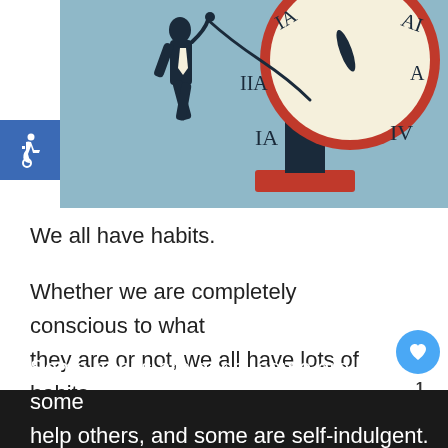[Figure (illustration): Illustration of a man in a suit being pulled/wound by a large clock on a pedestal against a light blue background. Accessibility icon badge in blue square at left.]
We all have habits.
Whether we are completely conscious to what they are or not, we all have lots of habits.
Some habits are good, some are bad, some help others, and some are self-indulgent. There